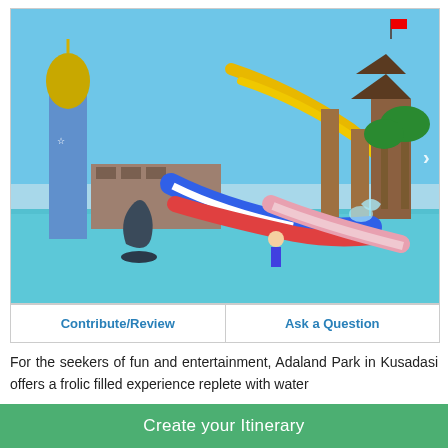[Figure (photo): Adaland water park in Kusadasi showing colorful water slides, a dolphin statue, children playing in a pool, blue and white slides, palm trees, and a themed tower in the background.]
Contribute/Review
Ask a Question
For the seekers of fun and entertainment, Adaland Park in Kusadasi offers a frolic filled experience replete with water
Create your Itinerary